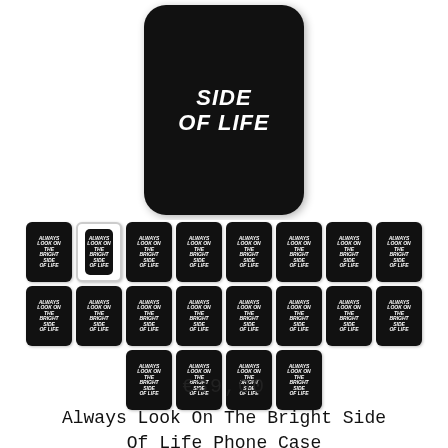[Figure (photo): Main product image: a black phone case with white graffiti-style text reading 'Always Look On The Bright Side Of Life', shown from the front with rounded corners against a white background.]
[Figure (photo): Grid of thumbnail images showing the same phone case product in various sizes and angles — 8 in first row, 8 in second row, 4 in third row. One thumbnail shows the case from the back. All depict a black phone case with white text 'Always Look On The Bright Side Of Life'.]
€39,00
Always Look On The Bright Side Of Life Phone Case